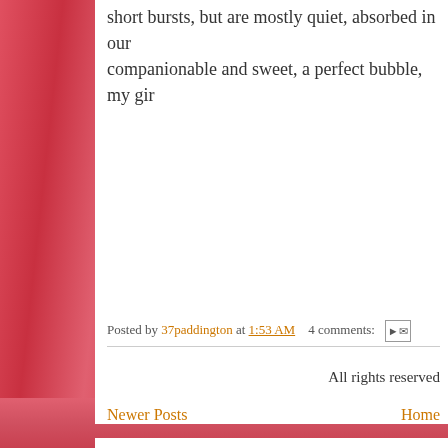short bursts, but are mostly quiet, absorbed in our companionable and sweet, a perfect bubble, my gir
Posted by 37paddington at 1:53 AM   4 comments:
Newer Posts   Home
Subscribe to: Posts (Atom)
All rights reserved